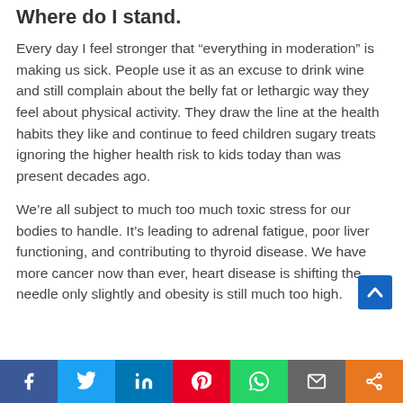Where do I stand.
Every day I feel stronger that “everything in moderation” is making us sick. People use it as an excuse to drink wine and still complain about the belly fat or lethargic way they feel about physical activity. They draw the line at the health habits they like and continue to feed children sugary treats ignoring the higher health risk to kids today than was present decades ago.
We’re all subject to much too much toxic stress for our bodies to handle. It’s leading to adrenal fatigue, poor liver functioning, and contributing to thyroid disease. We have more cancer now than ever, heart disease is shifting the needle only slightly and obesity is still much too high.